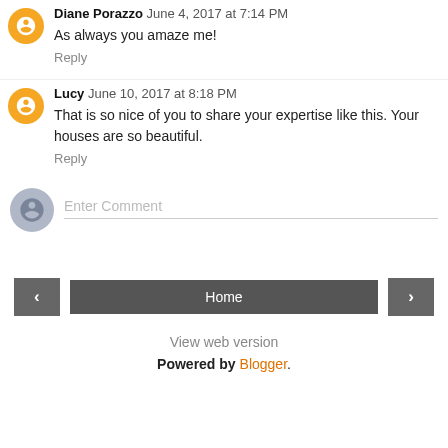Diane Porazzo June 4, 2017 at 7:14 PM
As always you amaze me!
Reply
Lucy June 10, 2017 at 8:18 PM
That is so nice of you to share your expertise like this. Your houses are so beautiful.
Reply
Enter Comment
Home
View web version
Powered by Blogger.